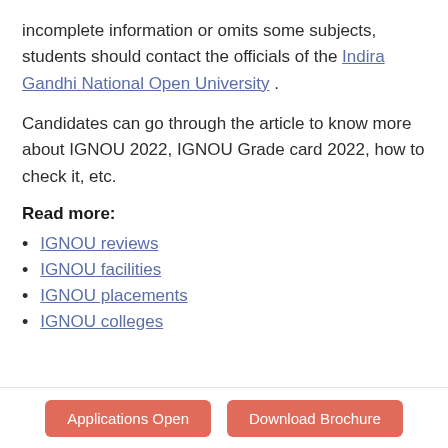incomplete information or omits some subjects, students should contact the officials of the Indira Gandhi National Open University .
Candidates can go through the article to know more about IGNOU 2022, IGNOU Grade card 2022, how to check it, etc.
Read more:
IGNOU reviews
IGNOU facilities
IGNOU placements
IGNOU colleges
Applications Open   Download Brochure